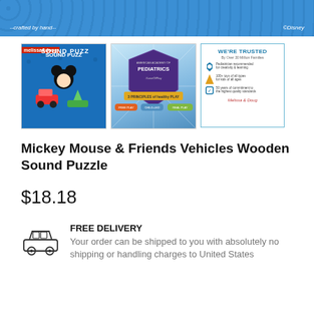[Figure (photo): Top portion of Mickey Mouse product packaging with blue polka dot background, text '--crafted by hand--' on left and '©Disney' on right]
[Figure (photo): Three product thumbnails: (1) Mickey Mouse & Friends Vehicles Sound Puzzle on blue background, (2) American Academy of Pediatrics badge with '3 PRINCIPLES of Healthy PLAY', (3) 'WE'RE TRUSTED By Over 30 Million Families' trust badge]
Mickey Mouse & Friends Vehicles Wooden Sound Puzzle
$18.18
FREE DELIVERY
Your order can be shipped to you with absolutely no shipping or handling charges to United States